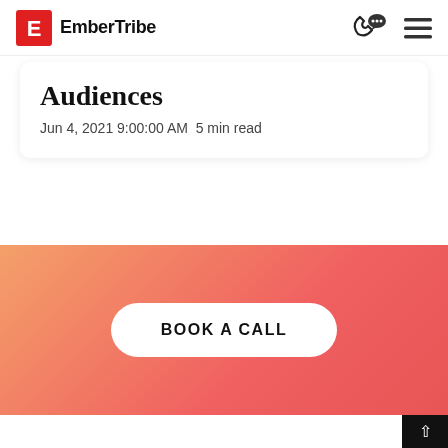EmberTribe
Audiences
Jun 4, 2021 9:00:00 AM  5 min read
[Figure (other): Gradient orange-to-red call-to-action section with a white 'BOOK A CALL' button]
BOOK A CALL